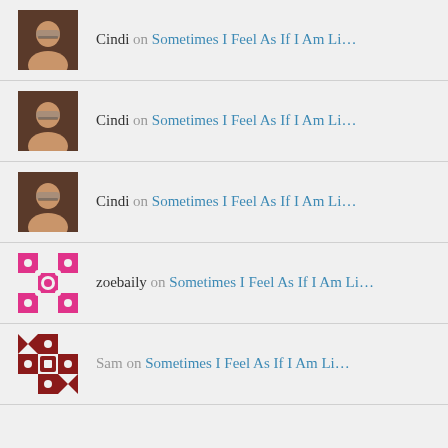Cindi on Sometimes I Feel As If I Am Li...
Cindi on Sometimes I Feel As If I Am Li...
Cindi on Sometimes I Feel As If I Am Li...
zoebaily on Sometimes I Feel As If I Am Li...
Sam on Sometimes I Feel As If I Am Li...
CATEGORY CLOUD